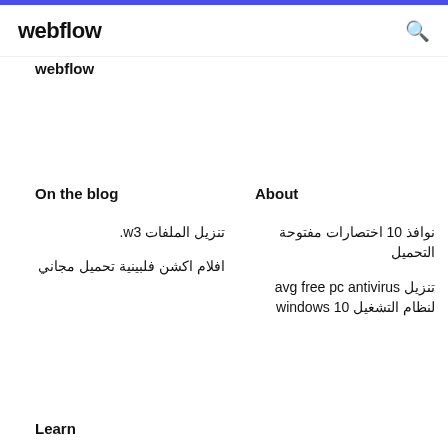webflow
webflow
On the blog
About
تنزيل الملفات 3w.
نوافذ 10 اختصارات مفتوحة التحميل
افلام اكشن فلبينية تحميل مجاني
تنزيل avg free pc antivirus لنظام التشغيل windows 10
Learn